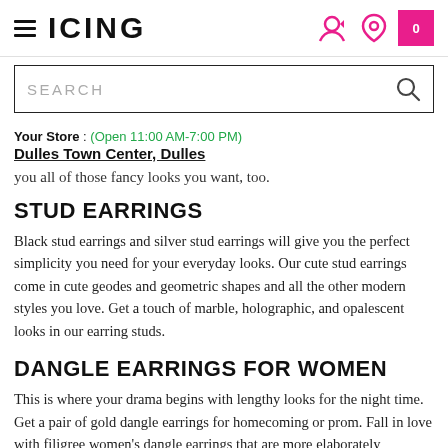ICING — Navigation header with hamburger menu, logo, user icon, location icon, and cart (0)
[Figure (screenshot): Search bar with placeholder text 'SEARCH' and magnifying glass icon]
Your Store : (Open 11:00 AM-7:00 PM)
Dulles Town Center, Dulles
you all of those fancy looks you want, too.
STUD EARRINGS
Black stud earrings and silver stud earrings will give you the perfect simplicity you need for your everyday looks. Our cute stud earrings come in cute geodes and geometric shapes and all the other modern styles you love. Get a touch of marble, holographic, and opalescent looks in our earring studs.
DANGLE EARRINGS FOR WOMEN
This is where your drama begins with lengthy looks for the night time. Get a pair of gold dangle earrings for homecoming or prom. Fall in love with filigree women's dangle earrings that are more elaborately described below.